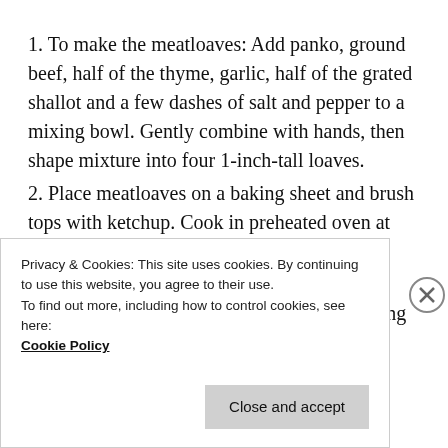1. To make the meatloaves: Add panko, ground beef, half of the thyme, garlic, half of the grated shallot and a few dashes of salt and pepper to a mixing bowl. Gently combine with hands, then shape mixture into four 1-inch-tall loaves.
2. Place meatloaves on a baking sheet and brush tops with ketchup. Cook in preheated oven at 450 for 15-18 minutes.
3. To make thyme gravy: Melt butter in a medium pan over medium heat. Add remaining minced shallot and remaining thyme. Cook, stirring, until...
Privacy & Cookies: This site uses cookies. By continuing to use this website, you agree to their use. To find out more, including how to control cookies, see here: Cookie Policy
Close and accept